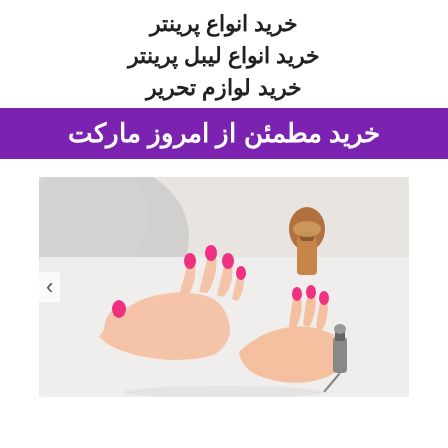خرید انواع پرینتر
خرید انواع لیبل پرینتر
خرید لوازم تحریر
خرید مطمئن از امروز مارکت
[Figure (photo): A person with bright pink nails applying nail polish, holding a small nail polish bottle, with a fluffy white surface and another polish bottle in the background.]